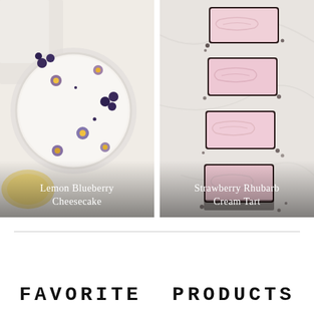[Figure (photo): Overhead view of a white frosted round cheesecake on a plate, decorated with edible purple and yellow flowers and fresh blueberries, on a white surface with a cloth napkin. Caption reads 'Lemon Blueberry Cheesecake'.]
[Figure (photo): Overhead view of rectangular chocolate tart slices topped with swirled pink strawberry rhubarb cream frosting, arranged in a diagonal row on a marble surface. Caption reads 'Strawberry Rhubarb Cream Tart'.]
FAVORITE PRODUCTS